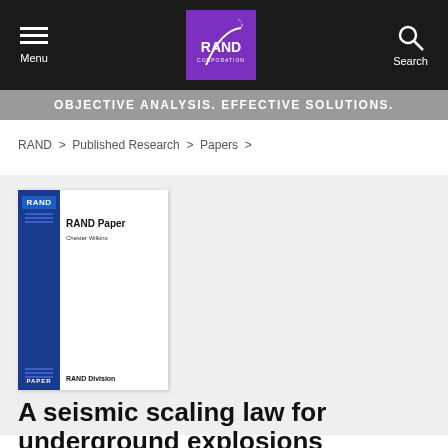Menu | RAND Corporation | Search
OBJECTIVE ANALYSIS. EFFECTIVE SOLUTIONS.
RAND > Published Research > Papers >
[Figure (illustration): RAND Paper book cover with blue spine showing RAND badge and PAPER label, white interior with RAND Paper title and RAND Division text]
A seismic scaling law for underground explosions